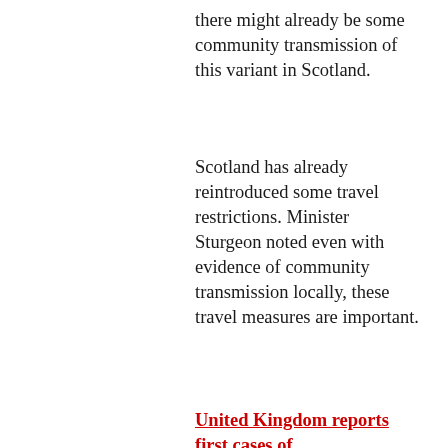there might already be some community transmission of this variant in Scotland.
Scotland has already reintroduced some travel restrictions. Minister Sturgeon noted even with evidence of community transmission locally, these travel measures are important.
United Kingdom reports first cases of